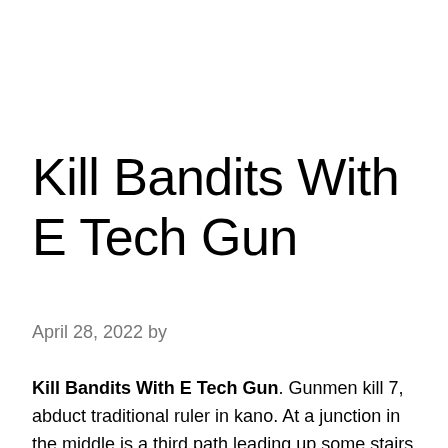Kill Bandits With E Tech Gun
April 28, 2022 by
Kill Bandits With E Tech Gun. Gunmen kill 7, abduct traditional ruler in kano. At a junction in the middle is a third path leading up some stairs and doc mercy can be found concealed at the top.